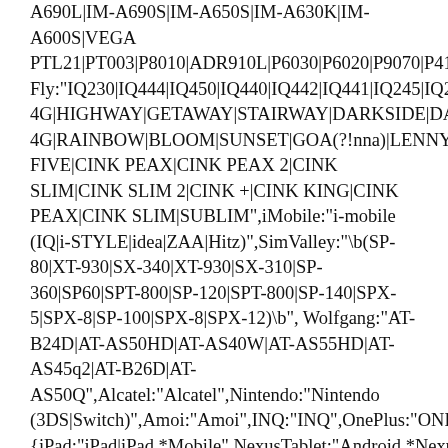A690L|IM-A690S|IM-A650S|IM-A630K|IM-A600S|VEGA PTL21|PT003|P8010|ADR910L|P6030|P6020|P9070|P4100|P9... Fly:"IQ230|IQ444|IQ450|IQ440|IQ442|IQ441|IQ245|IQ256|I... 4G|HIGHWAY|GETAWAY|STAIRWAY|DARKSIDE|DARKFUL... 4G|RAINBOW|BLOOM|SUNSET|GOA(?!nna)|LENNY|BARR... FIVE|CINK PEAX|CINK PEAX 2|CINK SLIM|CINK SLIM 2|CINK +|CINK KING|CINK PEAX|CINK SLIM|SUBLIM",iMobile:"i-mobile (IQ|i-STYLE|idea|ZAA|Hitz)",SimValley:"\b(SP-80|XT-930|SX-340|XT-930|SX-310|SP-360|SP60|SPT-800|SP-120|SPT-800|SP-140|SPX-5|SPX-8|SP-100|SPX-8|SPX-12)\b", Wolfgang:"AT-B24D|AT-AS50HD|AT-AS40W|AT-AS55HD|AT-AS45q2|AT-B26D|AT-AS50Q",Alcatel:"Alcatel",Nintendo:"Nintendo (3DS|Switch)",Amoi:"Amoi",INQ:"INQ",OnePlus:"ONEPLUS", {iPad:"iPad|iPad.*Mobile",NexusTablet:"Android.*Nexus[\s]+(7|9|10)",GoogleTablet:"Android.*Pixel C",SamsungTablet:"SAMSUNG.*Tablet|Galaxy.*Tab|SC...